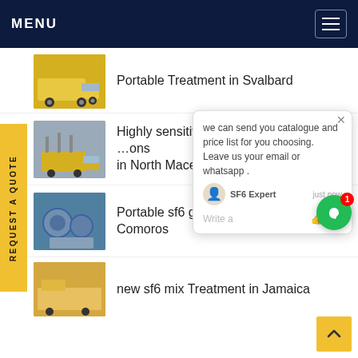MENU
Portable Treatment in Svalbard
Highly sensitive Insulated ... ons in North Macedonia
Portable sf6 gas Consol... Comoros
new sf6 mix Treatment in Jamaica
[Figure (screenshot): Chat popup overlay showing: 'we can send you catalogue and price list for you choosing. Leave us your email or whatsapp .' with SF6 Expert agent, just now timestamp, Write a reply field with thumbs up and paperclip icons. Green chat circle widget with badge '1'. Close X button top right.]